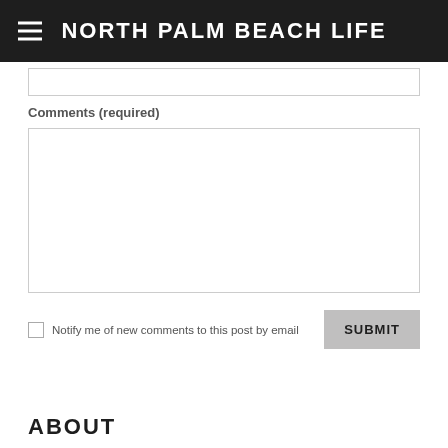NORTH PALM BEACH LIFE
Website
Comments (required)
Notify me of new comments to this post by email
SUBMIT
ABOUT